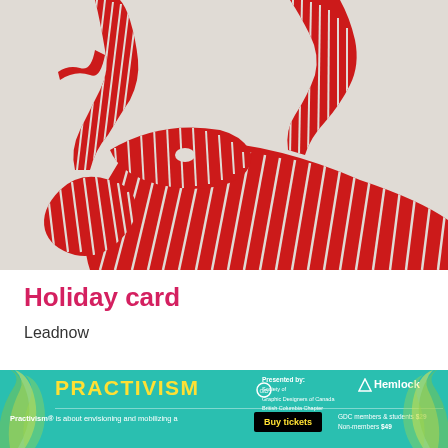[Figure (illustration): Red woodblock-style print of a deer/reindeer on a light grey background. The animal is rendered with bold red forms filled with white parallel lines, showing stylized antlers and body.]
Holiday card
Leadnow
[Figure (infographic): Teal/turquoise banner for 'Practivism' event. Yellow bold text reads PRACTIVISM. Presented by Society of Graphic Designers of Canada British Columbia Chapter and Hemlock. Black button reads 'Buy tickets'. Text: Practivism® is about envisioning and mobilizing a... GDC members & students $29, Non-members $49. Tropical leaf decorations on left and right sides.]